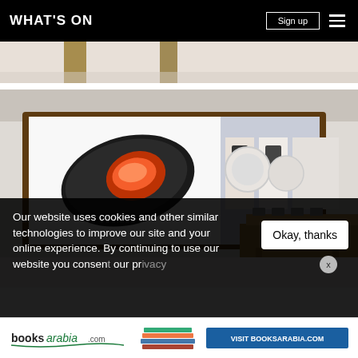WHAT'S ON | Sign up
[Figure (photo): Partial top view of a wooden-interior Apple store, cropped]
[Figure (photo): Interior of an Apple store showing a large wall display screen featuring an iPad advertisement with a colorful planet graphic, wooden display tables with products, and additional product display frames]
Our website uses cookies and other similar technologies to improve our site and your online experience. By continuing to use our website you consent to our use of cookies as set out in our privacy policy.
Okay, thanks
[Figure (photo): booksarabia.com advertisement banner with books and 'VISIT BOOKSARABIA.COM' button]